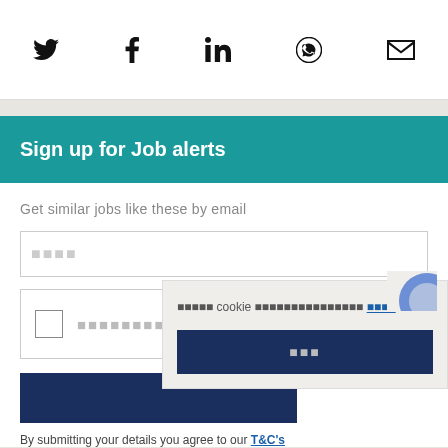[Figure (infographic): Social sharing icons row: Twitter bird, Facebook f, LinkedIn in, WhatsApp phone, Email envelope]
Sign up for Job alerts
Get similar jobs like these by email
Cookie notice overlay with accept button